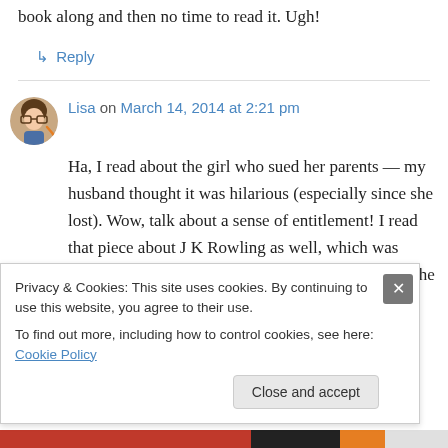book along and then no time to read it. Ugh!
↳ Reply
Lisa on March 14, 2014 at 2:21 pm
Ha, I read about the girl who sued her parents — my husband thought it was hilarious (especially since she lost). Wow, talk about a sense of entitlement! I read that piece about J K Rowling as well, which was completely ridiculous. It almost made me feel like the writer was just
Privacy & Cookies: This site uses cookies. By continuing to use this website, you agree to their use.
To find out more, including how to control cookies, see here: Cookie Policy
Close and accept